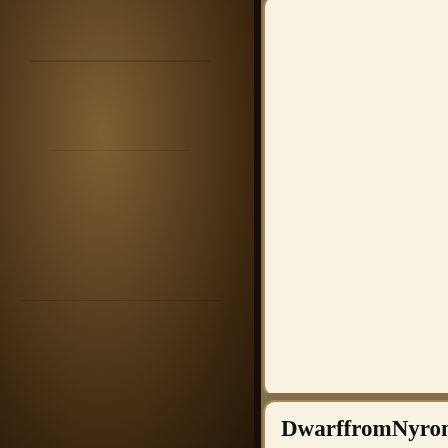[Figure (screenshot): Dark brown leather-textured left panel of a forum page]
tweak th... making...
This wo... feel scre...
~basiliv...
I didn't c... I merely...
DwarffromNyrond
Journeyman Greytalker
Joined: Aug 01, 2004
Posts: 252
From: Nyrond
Send private message
Sat Apr 30
major goo...
Basiliv,
That is a... that hav... Thank y...
I Miss th... Dwarf fr...
basiliv
Journeyman Greytalker
Joined: Jan 15, 2002
Sat Apr 30
Thanks